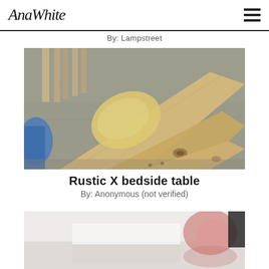AnaWhite [logo] + hamburger menu
By: Lampstreet
[Figure (photo): Rustic wooden boards and lumber pieces scattered on a concrete floor, showing natural wood grain, knots, and some pallet boards propped against a wall in the background.]
Rustic X bedside table
By: Anonymous (not verified)
[Figure (photo): Partial view of another project photo, cropped at bottom of page, showing reflective surface with some objects.]